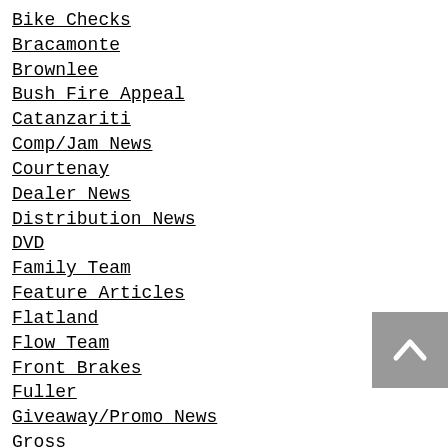Bike Checks
Bracamonte
Brownlee
Bush Fire Appeal
Catanzariti
Comp/Jam News
Courtenay
Dealer News
Distribution News
DVD
Family Team
Feature Articles
Flatland
Flow Team
Front Brakes
Fuller
Giveaway/Promo News
Gross
Hiam
Instagram Videos
James
Kelly
Listening Pleasures
Millar
Mitchell